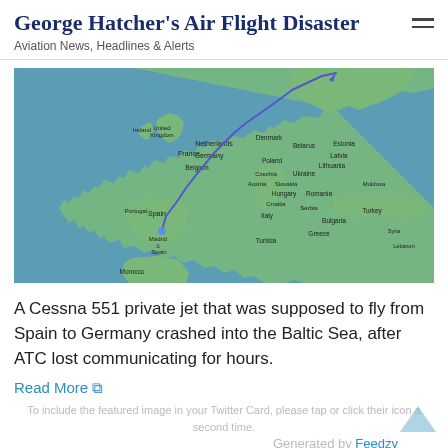George Hatcher's Air Flight Disaster
Aviation News, Headlines & Alerts
[Figure (map): Flight radar map showing Europe with a blue flight path line traced from Spain (near Barcelona/Madrid area) northeastward through France, Belgium, Netherlands, Germany, Denmark, and into the Baltic Sea region near Estonia/Latvia. The map shows country outlines and labels for various European nations including United Kingdom, Ireland, France, Spain, Portugal, Morocco, Germany, Netherlands, Belgium, Denmark, Sweden, Norway, Finland, Estonia, Latvia, Lithuania, Poland, Belarus, Ukraine, Czech Republic, Slovakia, Austria, Hungary, Romania, Bulgaria, Serbia, Croatia, Italy, Turkey, and others. The Mediterranean Sea, North Sea, and Baltic Sea are visible.]
A Cessna 551 private jet that was supposed to fly from Spain to Germany crashed into the Baltic Sea, after ATC lost communicating for hours.
Read More ⧉
To include the featured image in your Twitter Card, please tap or click their icon a second time.
Generated by Feedzy